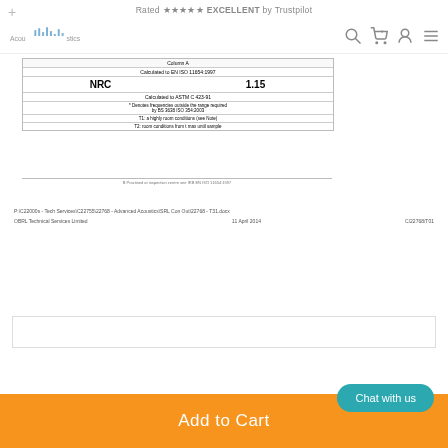Rated ★★★★★ EXCELLENT by Trustpilot
[Figure (screenshot): Website navigation bar with logo (acoustic waveform graphic), search icon, cart icon (0 items), user icon, and hamburger menu icon]
| Column A | Calculated to EN ISO 11654:1997 |
| --- | --- |
| NRC | 1.15 |
| Calculated to ASTM C 423-91 |  |
| * Denotes frequencies outside the range required by BS 3638 ISO 354:2003 |  |
| T1: a highly room conditions (see Note) |  |
| T2: room conditions from t max until sample |  |
P:\C22000s - Tech Services\C22755\22768 - Advanced Acoustics\SRL Con Out\22768 - T31.docx
OBRL Technical Services Limited    11 April 2014    C122768/T01
[Figure (screenshot): Partially visible document preview box at bottom of page]
Add to Cart
Chat with us